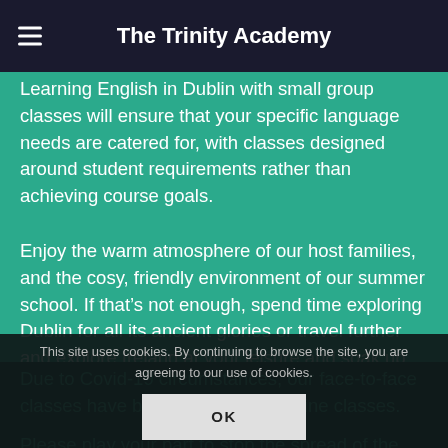The Trinity Academy
Learning English in Dublin with small group classes will ensure that your specific language needs are catered for, with classes designed around student requirements rather than achieving course goals.
Enjoy the warm atmosphere of our host families, and the cosy, friendly environment of our summer school. If that's not enough, spend time exploring Dublin for all its ancient glories or travel further and explore Ireland at your leisure and soak up the great history of this very ancient land....so book now to start learning English in Dublin.
Due to Covid-19 circumstances, our face-to-face classes have been replaced by online classes.
Please play your part to stop the spread of the disease
This site uses cookies. By continuing to browse the site, you are agreeing to our use of cookies.